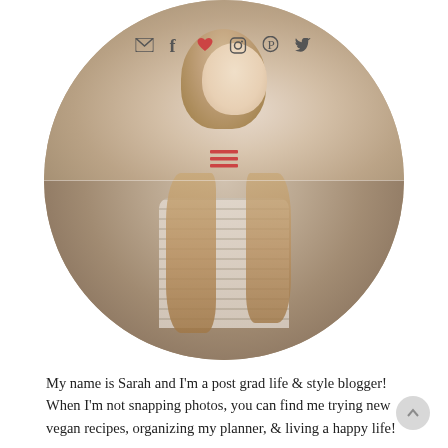[Figure (photo): Circular profile photo of a young woman with long blonde hair wearing a striped white and grey long-sleeve shirt, standing outdoors with a blurred natural background. Social media icons (email, Facebook, heart/Bloglovin, Instagram, Pinterest, Twitter) appear at the top within the circle, and a hamburger menu icon appears in the middle dividing the circle.]
My name is Sarah and I'm a post grad life & style blogger! When I'm not snapping photos, you can find me trying new vegan recipes, organizing my planner, & living a happy life!